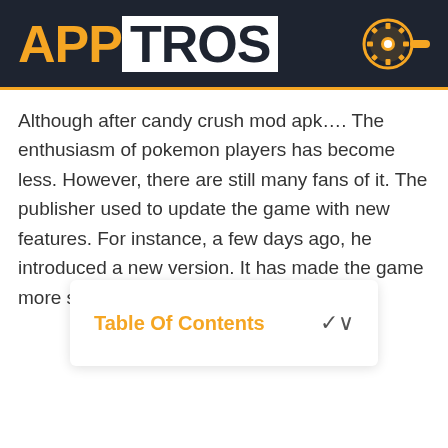[Figure (logo): APPTROS logo on dark navy background with orange APP text and white TROS text in white box, with a circular gear/settings icon on the right]
Although after candy crush mod apk…. The enthusiasm of pokemon players has become less. However, there are still many fans of it. The publisher used to update the game with new features. For instance, a few days ago, he introduced a new version. It has made the game more smooth and exciting.
Table Of Contents